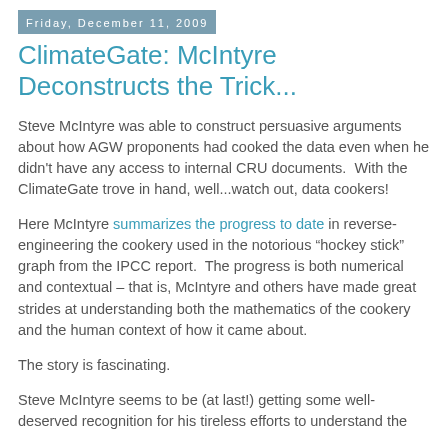Friday, December 11, 2009
ClimateGate: McIntyre Deconstructs the Trick...
Steve McIntyre was able to construct persuasive arguments about how AGW proponents had cooked the data even when he didn't have any access to internal CRU documents.  With the ClimateGate trove in hand, well...watch out, data cookers!
Here McIntyre summarizes the progress to date in reverse-engineering the cookery used in the notorious “hockey stick” graph from the IPCC report.  The progress is both numerical and contextual – that is, McIntyre and others have made great strides at understanding both the mathematics of the cookery and the human context of how it came about.
The story is fascinating.
Steve McIntyre seems to be (at last!) getting some well-deserved recognition for his tireless efforts to understand the